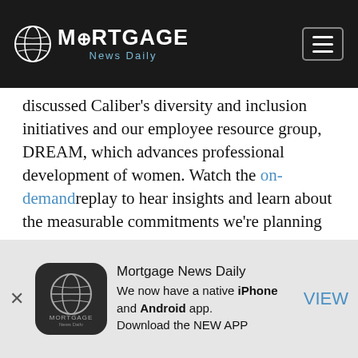MORTGAGE News Daily
discussed Caliber’s diversity and inclusion initiatives and our employee resource group, DREAM, which advances professional development of women. Watch the on-demand replay to hear insights and learn about the measurable commitments we’re planning for 2021. If you’d like to join a company that cultivates a diverse and inclusive environment while supporting career growth, Caliber is for you! Visit our website today to view open opportunities. To be immediately considered for Operations or Sales
[Figure (infographic): Mortgage News Daily app advertisement banner with globe logo icon, text about iPhone and Android app, and VIEW link]